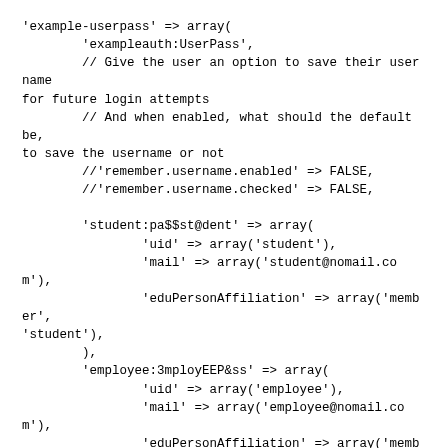'example-userpass' => array(
        'exampleauth:UserPass',
        // Give the user an option to save their username for future login attempts
        // And when enabled, what should the default be, to save the username or not
        //'remember.username.enabled' => FALSE,
        //'remember.username.checked' => FALSE,

        'student:pa$$st@dent' => array(
                'uid' => array('student'),
                'mail' => array('student@nomail.com'),
                'eduPersonAffiliation' => array('member', 'student'),
        ),
        'employee:3mployEEP&ss' => array(
                'uid' => array('employee'),
                'mail' => array('employee@nomail.com'),
                'eduPersonAffiliation' => array('member', 'employee'),
        ),
        ),
There are two test users: student and employee, with attributes uid